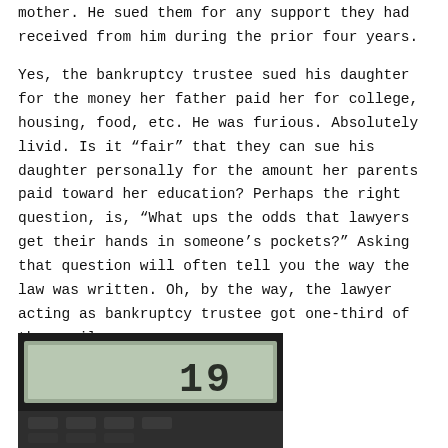mother. He sued them for any support they had received from him during the prior four years.
Yes, the bankruptcy trustee sued his daughter for the money her father paid her for college, housing, food, etc. He was furious. Absolutely livid. Is it “fair” that they can sue his daughter personally for the amount her parents paid toward her education? Perhaps the right question, is, “What ups the odds that lawyers get their hands in someone’s pockets?” Asking that question will often tell you the way the law was written. Oh, by the way, the lawyer acting as bankruptcy trustee got one-third of the spoil.
[Figure (photo): Close-up photograph of a calculator showing the number 19 on its display screen, with a dark body and grey/silver keyboard area visible at the bottom.]